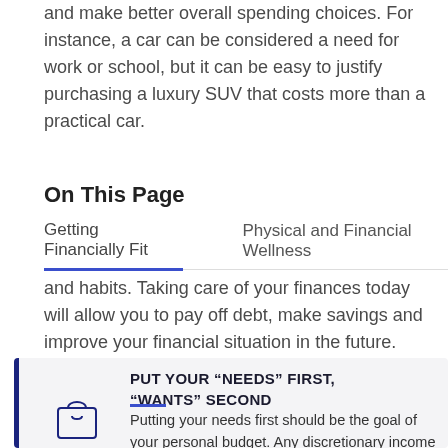and make better overall spending choices. For instance, a car can be considered a need for work or school, but it can be easy to justify purchasing a luxury SUV that costs more than a practical car.
On This Page
Getting Financially Fit   Physical and Financial Wellness
and habits. Taking care of your finances today will allow you to pay off debt, make savings and improve your financial situation in the future.
PUT YOUR “NEEDS” FIRST, “WANTS” SECOND
Putting your needs first should be the goal of your personal budget. Any discretionary income should only be